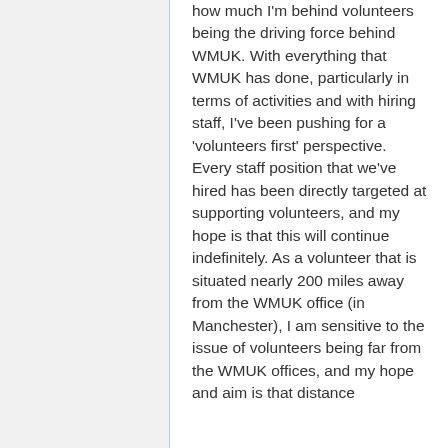how much I'm behind volunteers being the driving force behind WMUK. With everything that WMUK has done, particularly in terms of activities and with hiring staff, I've been pushing for a 'volunteers first' perspective. Every staff position that we've hired has been directly targeted at supporting volunteers, and my hope is that this will continue indefinitely. As a volunteer that is situated nearly 200 miles away from the WMUK office (in Manchester), I am sensitive to the issue of volunteers being far from the WMUK offices, and my hope and aim is that distance